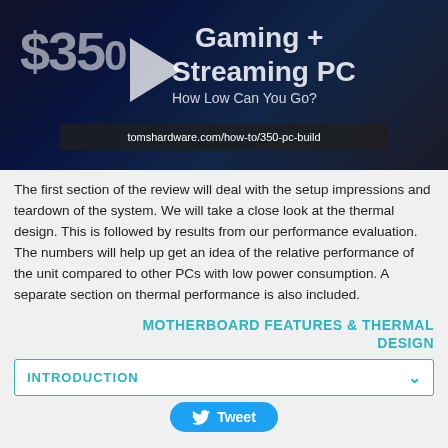[Figure (screenshot): Video thumbnail for '$350 Gaming + Streaming PC – How Low Can You Go?' with URL tomshardware.com/how-to/350-pc-build shown in a dark overlay bar at the bottom of the image.]
The first section of the review will deal with the setup impressions and teardown of the system. We will take a close look at the thermal design. This is followed by results from our performance evaluation. The numbers will help up get an idea of the relative performance of the unit compared to other PCs with low power consumption. A separate section on thermal performance is also included.
MOTHERBOARD FEATURES & THERMAL DESIGN
INTRODUCTION
Tweet